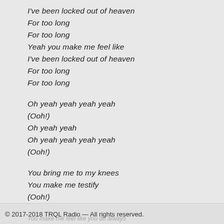I've been locked out of heaven
For too long
For too long
Yeah you make me feel like
I've been locked out of heaven
For too long
For too long

Oh yeah yeah yeah yeah
(Ooh!)
Oh yeah yeah
Oh yeah yeah yeah yeah
(Ooh!)

You bring me to my knees
You make me testify
(Ooh!)
© 2017-2018 TRQL Radio — All rights reserved.